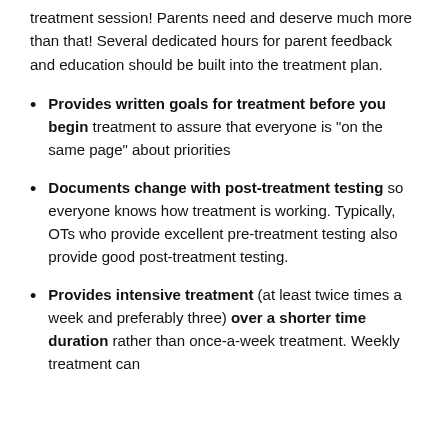treatment session! Parents need and deserve much more than that! Several dedicated hours for parent feedback and education should be built into the treatment plan.
Provides written goals for treatment before you begin treatment to assure that everyone is "on the same page" about priorities
Documents change with post-treatment testing so everyone knows how treatment is working. Typically, OTs who provide excellent pre-treatment testing also provide good post-treatment testing.
Provides intensive treatment (at least twice times a week and preferably three) over a shorter time duration rather than once-a-week treatment. Weekly treatment can